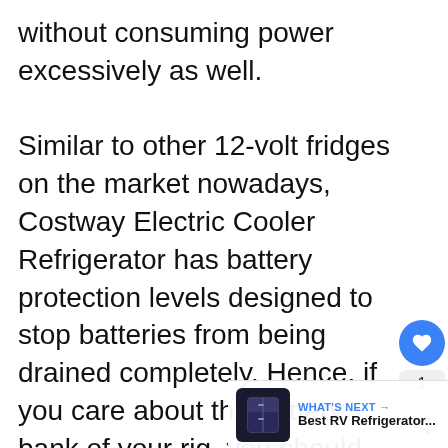without consuming power excessively as well.

Similar to other 12-volt fridges on the market nowadays, Costway Electric Cooler Refrigerator has battery protection levels designed to stop batteries from being drained completely. Hence, if you care about the battery bank of your rig, you should add the Costway refrigerator to your shortlist. During operation, sounds emitted by Costway Electric Cooler Refrigerator tend to be barely audible so is well-liked by those that have sensitive hearing. Featuring an ergonomic the fridge from Costway can be moved around by virtually everyone.